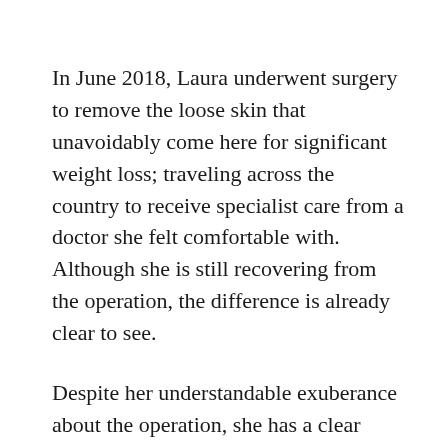In June 2018, Laura underwent surgery to remove the loose skin that unavoidably come here for significant weight loss; traveling across the country to receive specialist care from a doctor she felt comfortable with. Although she is still recovering from the operation, the difference is already clear to see.
Despite her understandable exuberance about the operation, she has a clear message for people who turn to her for advice saying that they would want to lose weight but fear ending up with saggy scalp:” Loose skin will never outweigh a longer life.”